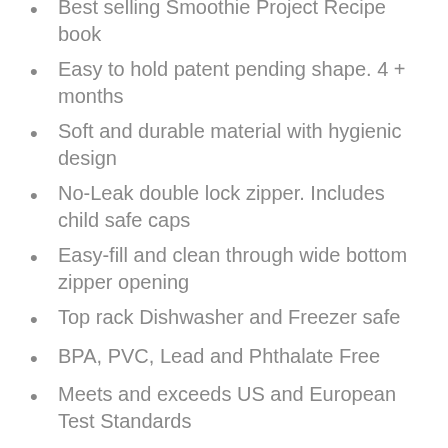Best selling Smoothie Project Recipe book
Easy to hold patent pending shape. 4 + months
Soft and durable material with hygienic design
No-Leak double lock zipper. Includes child safe caps
Easy-fill and clean through wide bottom zipper opening
Top rack Dishwasher and Freezer safe
BPA, PVC, Lead and Phthalate Free
Meets and exceeds US and European Test Standards
Make Feeding Time Fresh!
ChooMee proudly introduces its SnakPack